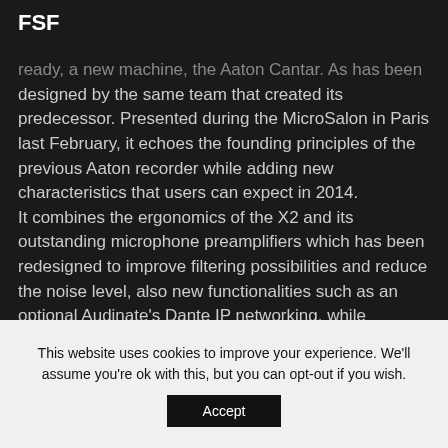FSF
...ready, a new machine, the Aaton Cantar. As has been designed by the same team that created its predecessor. Presented during the MicroSalon in Paris last February, it echoes the founding principles of the previous Aaton recorder while adding new characteristics that users can expect in 2014.
It combines the ergonomics of the X2 and its outstanding microphone preamplifiers which has been redesigned to improve filtering possibilities and reduce the noise level, also new functionalities such as an optional Audinate's Dante IP networking, while additional features are accessed through an improved human interface with new
This website uses cookies to improve your experience. We'll assume you're ok with this, but you can opt-out if you wish.
Accept